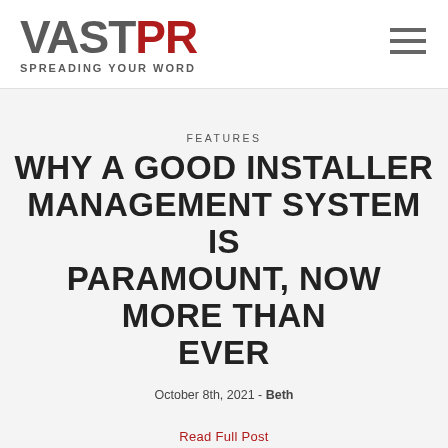[Figure (logo): VAST PR logo with tagline SPREADING YOUR WORD. VAST in dark gray, PR in red, bold large text.]
FEATURES
WHY A GOOD INSTALLER MANAGEMENT SYSTEM IS PARAMOUNT, NOW MORE THAN EVER
October 8th, 2021 - Beth
Read Full Post